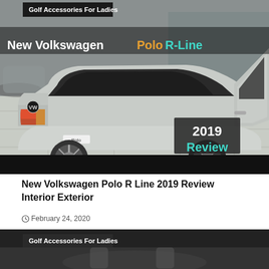Golf Accessories For Ladies
[Figure (photo): Silver Volkswagen Polo R-Line 2019 photographed from the rear three-quarter angle inside a dealership showroom with the rear door open. Overlaid text reads 'New Volkswagen Polo R-Line' with 'Polo' in orange and 'R-Line' in teal, and a badge showing '2019 Review' in the bottom-right corner.]
New Volkswagen Polo R Line 2019 Review Interior Exterior
February 24, 2020
Golf Accessories For Ladies